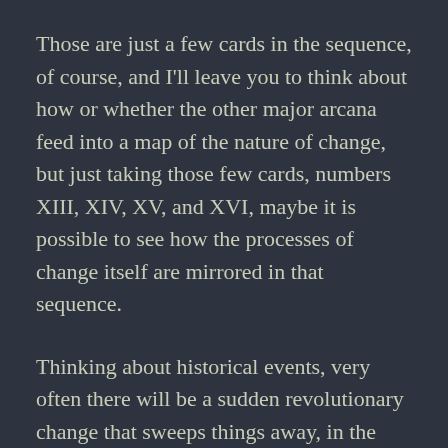Those are just a few cards in the sequence, of course, and I'll leave you to think about how or whether the other major arcana feed into a map of the nature of change, but just taking those few cards, numbers XIII, XIV, XV, and XVI, maybe it is possible to see how the processes of change itself are mirrored in that sequence.
Thinking about historical events, very often there will be a sudden revolutionary change that sweeps things away, in the manner of the Death card, and when that happens there is often a moment when equilibrium is restored, and there's the possibility of some new kind of